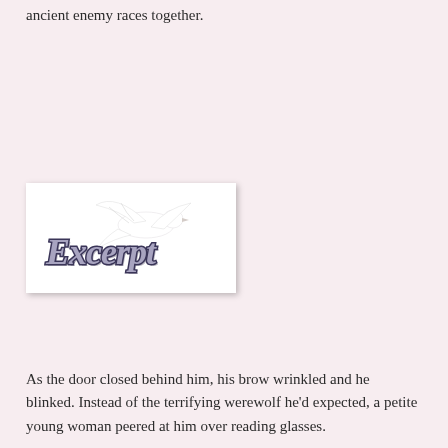ancient enemy races together.
[Figure (illustration): An 'Excerpt' logo image with decorative cursive script text reading 'Excerpt' overlaid with a white dove in flight, on a white background with a drop shadow border.]
As the door closed behind him, his brow wrinkled and he blinked. Instead of the terrifying werewolf he'd expected, a petite young woman peered at him over reading glasses.